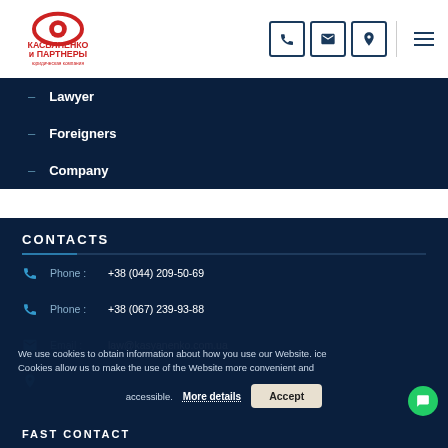[Figure (logo): Kasyanenko and Partners legal company logo with eye icon and Cyrillic text]
– Lawyer
– Foreigners
– Company
CONTACTS
Phone: +38 (044) 209-50-69
Phone: +38 (067) 239-93-88
Email: law@kasyanenko.com.ua
We use cookies to obtain information about how you use our Website. Cookies allow us to make the use of the Website more convenient and accessible. More details Accept
FAST CONTACT